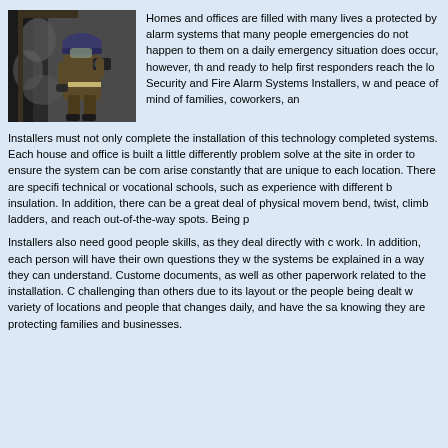[Figure (photo): A firefighter or emergency responder in gear working near a smoky, dark doorway or building entrance]
Homes and offices are filled with many lives a... protected by alarm systems that many people... emergencies do not happen to them on a dai... emergency situation does occur, however, th... and ready to help first responders reach the lo... Security and Fire Alarm Systems Installers, w... and peace of mind of families, coworkers, an...
Installers must not only complete the installation of this technology... completed systems. Each house and office is built a little differently... problem solve at the site in order to ensure the system can be com... arise constantly that are unique to each location. There are specifi... technical or vocational schools, such as experience with different b... insulation. In addition, there can be a great deal of physical movem... bend, twist, climb ladders, and reach out-of-the-way spots. Being p...
Installers also need good people skills, as they deal directly with c... work. In addition, each person will have their own questions they w... the systems be explained in a way they can understand. Custome... documents, as well as other paperwork related to the installation. C... challenging than others due to its layout or the people being dealt w... variety of locations and people that changes daily, and have the sa... knowing they are protecting families and businesses.